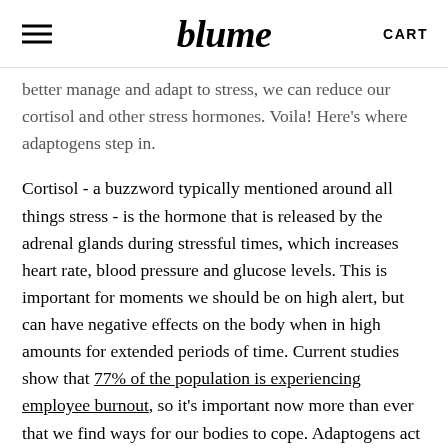blume | CART
better manage and adapt to stress, we can reduce our cortisol and other stress hormones. Voila! Here's where adaptogens step in.
Cortisol - a buzzword typically mentioned around all things stress - is the hormone that is released by the adrenal glands during stressful times, which increases heart rate, blood pressure and glucose levels. This is important for moments we should be on high alert, but can have negative effects on the body when in high amounts for extended periods of time. Current studies show that 77% of the population is experiencing employee burnout, so it's important now more than ever that we find ways for our bodies to cope. Adaptogens act as an invisible shield against the negative effects of stress on our bodies, decreasing our sensitivity to the stress hormones and